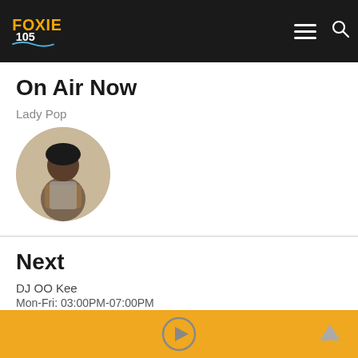Foxie 105 - header with logo, hamburger menu, and search icon
On Air Now
Lady Pop
[Figure (photo): Circular portrait photo of Lady Pop, a woman in a gray and gold outfit against a beige background]
Next
DJ OO Kee
Mon-Fri: 03:00PM-07:00PM
Sat: 10:00AM-02:00PM
[Figure (photo): Circular black-and-white portrait photo of DJ OO Kee, a man posing with hand near chin]
Play button and up arrow on orange/yellow bar